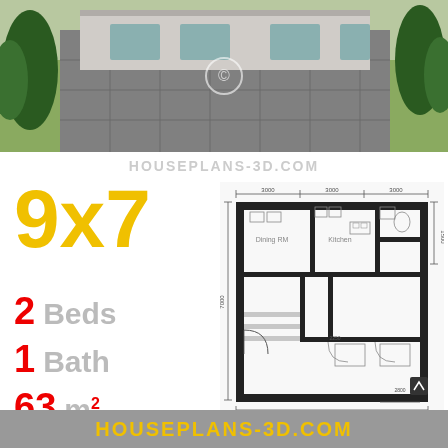[Figure (photo): 3D exterior render of a small modern house with paved driveway, green lawn, and tropical plants]
HOUSEPLANS-3D.COM
9x7
2 Beds
1 Bath
63 m²
[Figure (engineering-diagram): Floor plan of 9x7 house showing Dining Room, Kitchen, 2 bedrooms, 1 bathroom. Overall width 9000mm. Three bays of 3000mm each across the top. Height 7000mm. Bedroom on lower right 2800mm wide.]
HOUSEPLANS-3D.COM